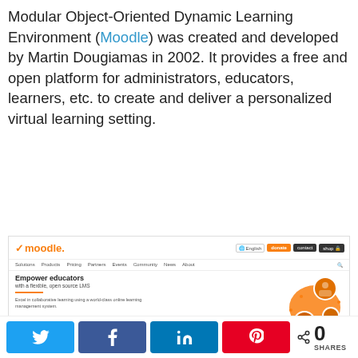Modular Object-Oriented Dynamic Learning Environment (Moodle) was created and developed by Martin Dougiamas in 2002. It provides a free and open platform for administrators, educators, learners, etc. to create and deliver a personalized virtual learning setting.
[Figure (screenshot): Screenshot of the Moodle website homepage showing the Moodle logo, navigation bar with Donate, Contact, Shop buttons, sub-navigation with Solutions, Products, Pricing, Partners, Events, Community, News, About links, hero section with 'Empower educators with a flexible, open source LMS' heading, description text, Discover Moodle LMS button, and decorative orange globe illustration with people photos.]
[Figure (infographic): Social share bar with Twitter, Facebook, LinkedIn, Pinterest share buttons and a share count showing 0 SHARES]